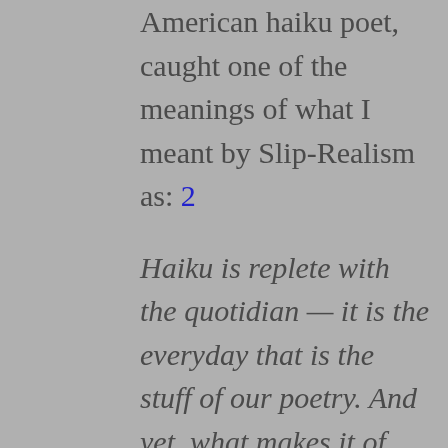American haiku poet, caught one of the meanings of what I meant by Slip-Realism as: 2
Haiku is replete with the quotidian — it is the everyday that is the stuff of our poetry. And yet, what makes it of interest is our perception of it as not ordinary, as, in fact, uncanny. Slip-realism aims to explicate this daily miracle.